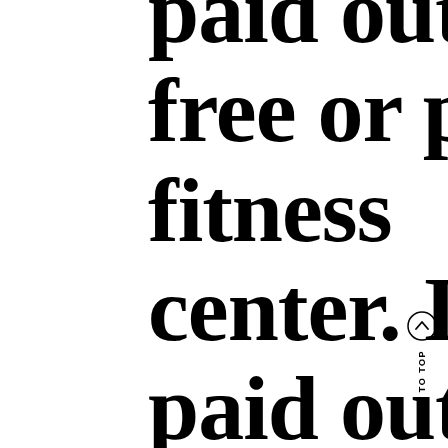paid out, free or paid fitness center. In paid out membership, you will need access to the facility